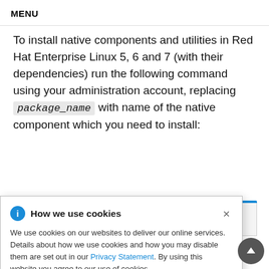MENU
To install native components and utilities in Red Hat Enterprise Linux 5, 6 and 7 (with their dependencies) run the following command using your administration account, replacing package_name with name of the native component which you need to install:
How we use cookies
We use cookies on our websites to deliver our online services. Details about how we use cookies and how you may disable them are set out in our Privacy Statement. By using this website you agree to our use of cookies.